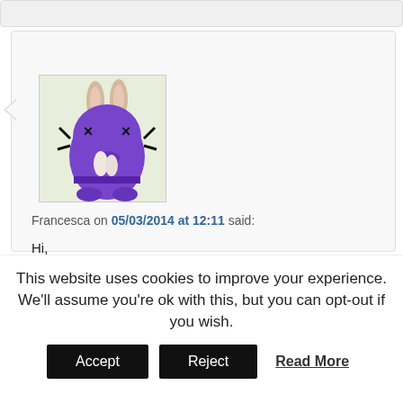[Figure (illustration): Purple cartoon monster avatar with bunny ears and XX eyes on a light green background]
Francesca on 05/03/2014 at 12:11 said:
Hi,
This is my video made with PowToon! 🙂
http://www.powtoon.com/p/eqd2kNPPvwz/
Reply ↓
lacimetta
This website uses cookies to improve your experience. We'll assume you're ok with this, but you can opt-out if you wish.
Accept  Reject  Read More